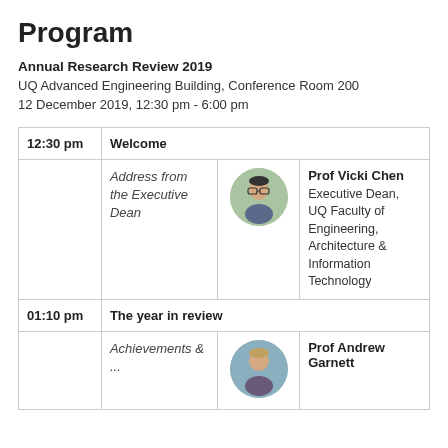Program
Annual Research Review 2019
UQ Advanced Engineering Building, Conference Room 200
12 December 2019, 12:30 pm - 6:00 pm
| Time | Session | Photo | Speaker |
| --- | --- | --- | --- |
| 12:30 pm | Welcome |  |  |
|  | Address from the Executive Dean | [photo] | Prof Vicki Chen
Executive Dean, UQ Faculty of Engineering, Architecture & Information Technology |
| 01:10 pm | The year in review |  |  |
|  | Achievements & ... | [photo] | Prof Andrew Garnett |